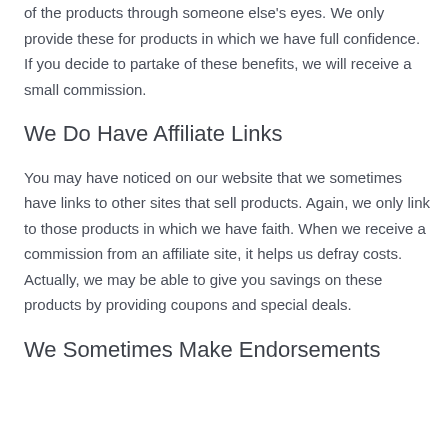of the products through someone else's eyes. We only provide these for products in which we have full confidence. If you decide to partake of these benefits, we will receive a small commission.
We Do Have Affiliate Links
You may have noticed on our website that we sometimes have links to other sites that sell products. Again, we only link to those products in which we have faith. When we receive a commission from an affiliate site, it helps us defray costs. Actually, we may be able to give you savings on these products by providing coupons and special deals.
We Sometimes Make Endorsements